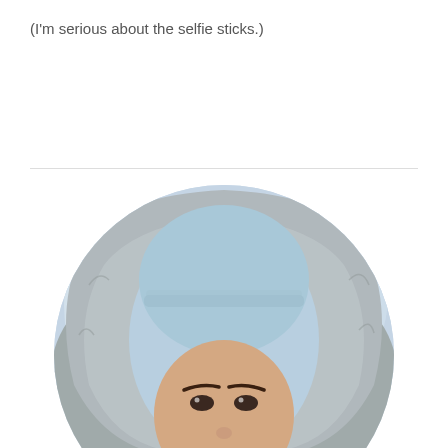(I'm serious about the selfie sticks.)
[Figure (photo): A woman wearing a light blue knit beanie hat and a fur-trimmed hood/jacket, smiling, photographed outdoors in a wintry snowy setting. The photo is cropped in a circular frame showing her face and upper head.]